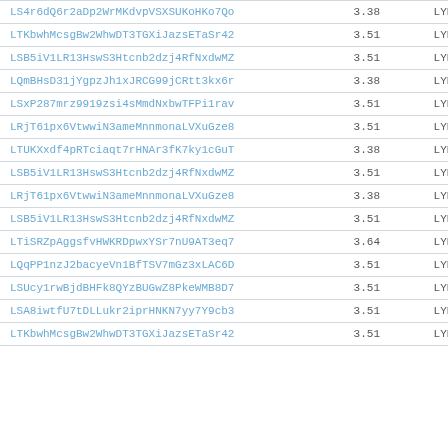| ID | Value | Label |
| --- | --- | --- |
| LS4r6dQ6r2aDp2WrMKdvpVSXSUKoHKo7Qo | 3.38 | LYRA |
| LTKbwhMcsgBw2WhwDT3TGXiJazsETaSr42 | 3.51 | LYRA |
| LSB5iV1LR13HswS3Htcnb2dzj4RfNxdwMZ | 3.51 | LYRA |
| LQmBHsD31jYgpzJh1xJRCG99jCRtt3kx6r | 3.38 | LYRA |
| LSxP287mrz9919zsi4sMmdNxbwTFPi1rav | 3.51 | LYRA |
| LRjT61px6VtwwiN3ameMnnmonaLVXuGze8 | 3.51 | LYRA |
| LTUKXxdf4pRTciaqt7rHNAr3fK7ky1cGuT | 3.38 | LYRA |
| LSB5iV1LR13HswS3Htcnb2dzj4RfNxdwMZ | 3.51 | LYRA |
| LRjT61px6VtwwiN3ameMnnmonaLVXuGze8 | 3.38 | LYRA |
| LSB5iV1LR13HswS3Htcnb2dzj4RfNxdwMZ | 3.51 | LYRA |
| LTiSRZpAggsfvHWKRDpwxYSr7nU9AT3eq7 | 3.64 | LYRA |
| LQqPP1nzJ2bacyeVn1BfTSV7mGz3xLAC6D | 3.51 | LYRA |
| LSUcy1rwBjdBHFk8QYzBUGwZ8PkeWMB8D7 | 3.51 | LYRA |
| LSA8iwtfU7tDLLukr2iprHNKN7yy7Y9cb3 | 3.51 | LYRA |
| LTKbwhMcsgBw2WhwDT3TGXiJazsETaSr42 | 3.51 | LYRA |